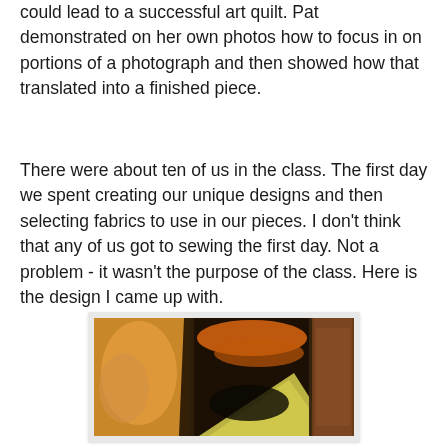could lead to a successful art quilt. Pat demonstrated on her own photos how to focus in on portions of a photograph and then showed how that translated into a finished piece.
There were about ten of us in the class. The first day we spent creating our unique designs and then selecting fabrics to use in our pieces. I don't think that any of us got to sewing the first day. Not a problem - it wasn't the purpose of the class. Here is the design I came up with.
[Figure (photo): A composite art quilt design showing fabric panels with warm orange, brown, and yellow tones depicting what appears to be portions of photographs combined — including organic shapes like a leaf and abstract warm-toned imagery, arranged in a triptych-style layout.]